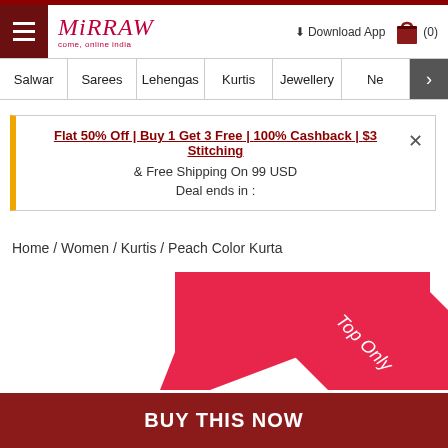Mirraw — come, online india
Salwar | Sarees | Lehengas | Kurtis | Jewellery | Ne >
Flat 50% Off | Buy 1 Get 3 Free | 100% Cashback | $3 Stitching & Free Shipping On 99 USD  Deal ends in :
Home / Women / Kurtis / Peach Color Kurta
[Figure (other): Red diagonal ribbon/banner with text 'Top Only']
BUY THIS NOW